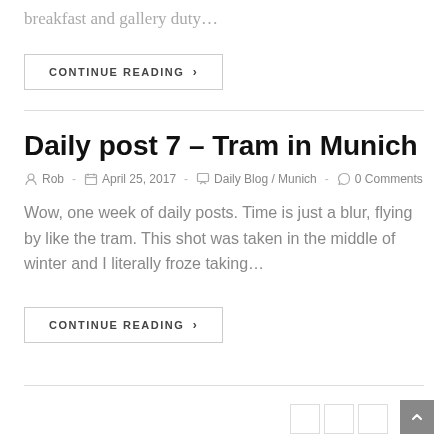breakfast and gallery duty…
CONTINUE READING ›
Daily post 7 – Tram in Munich
Rob  -  April 25, 2017  -  Daily Blog / Munich  -  0 Comments
Wow, one week of daily posts. Time is just a blur, flying by like the tram. This shot was taken in the middle of winter and I literally froze taking…
CONTINUE READING ›